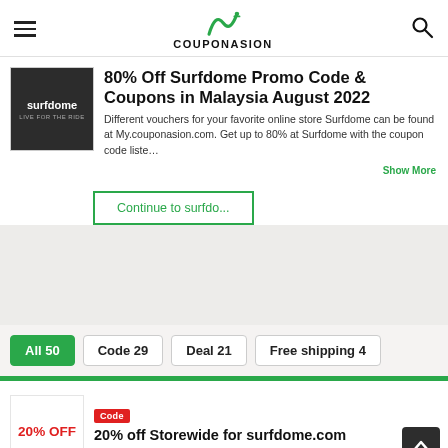COUPONASION
80% Off Surfdome Promo Code & Coupons in Malaysia August 2022
Different vouchers for your favorite online store Surfdome can be found at My.couponasion.com. Get up to 80% at Surfdome with the coupon code liste…
Continue to surfdo...
All 50  Code 29  Deal 21  Free shipping 4
Code
20% off Storewide for surfdome.com
Ends 24-08-22